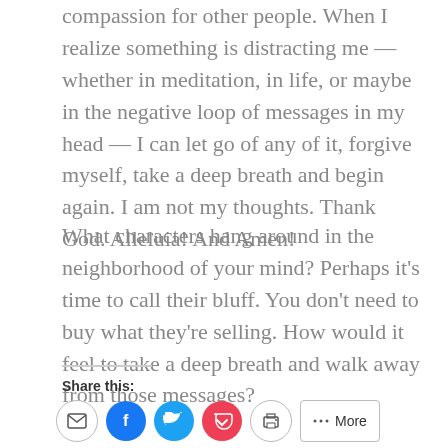compassion for other people. When I realize something is distracting me — whether in meditation, in life, or maybe in the negative loop of messages in my head — I can let go of any of it, forgive myself, take a deep breath and begin again. I am not my thoughts. Thank God. Alleluia! And Amen!
What characters hang around in the neighborhood of your mind? Perhaps it's time to call their bluff. You don't need to buy what they're selling. How would it feel to take a deep breath and walk away from those messages?
Share this: